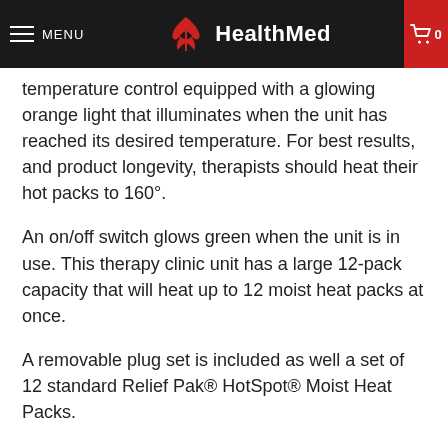MENU | HealthMed
temperature control equipped with a glowing orange light that illuminates when the unit has reached its desired temperature. For best results, and product longevity, therapists should heat their hot packs to 160°.
An on/off switch glows green when the unit is in use. This therapy clinic unit has a large 12-pack capacity that will heat up to 12 moist heat packs at once.
A removable plug set is included as well a set of 12 standard Relief Pak® HotSpot® Moist Heat Packs.
The heat packs are reusable, and can maintain therapeutic heat for up to 30